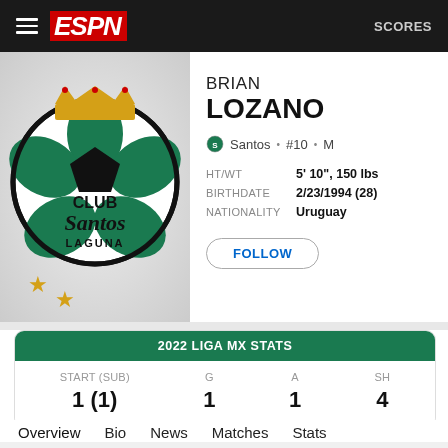ESPN  SCORES
[Figure (logo): Club Santos Laguna shield logo with crown, black and green soccer ball design, with two gold stars]
BRIAN LOZANO
Santos • #10 • M
HT/WT  5' 10", 150 lbs
BIRTHDATE  2/23/1994 (28)
NATIONALITY  Uruguay
FOLLOW
| START (SUB) | G | A | SH |
| --- | --- | --- | --- |
| 1 (1) | 1 | 1 | 4 |
2022 LIGA MX STATS
Overview  Bio  News  Matches  Stats